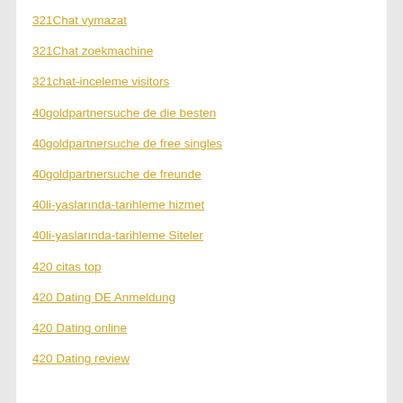321Chat vymazat
321Chat zoekmachine
321chat-inceleme visitors
40goldpartnersuche de die besten
40goldpartnersuche de free singles
40goldpartnersuche de freunde
40li-yaslarinda-tarihleme hizmet
40li-yaslarinda-tarihleme Siteler
420 citas top
420 Dating DE Anmeldung
420 Dating online
420 Dating review